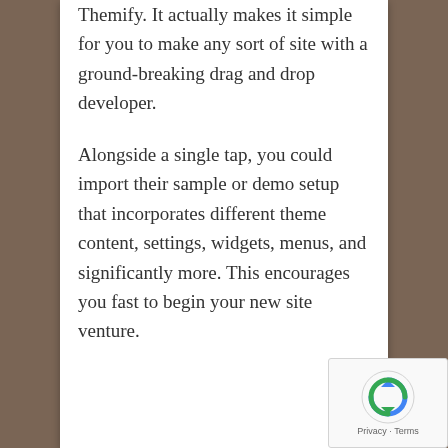Themify. It actually makes it simple for you to make any sort of site with a ground-breaking drag and drop developer.
Alongside a single tap, you could import their sample or demo setup that incorporates different theme content, settings, widgets, menus, and significantly more. This encourages you fast to begin your new site venture.
[Figure (logo): reCAPTCHA badge with circular arrow icon and Privacy · Terms text]